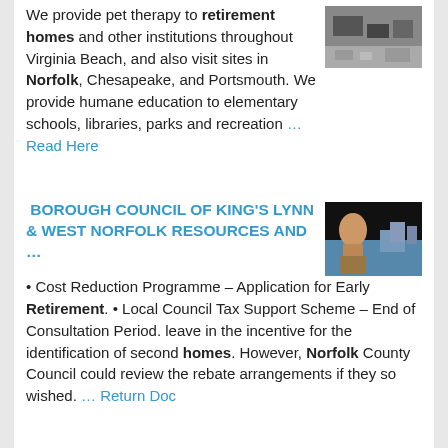We provide pet therapy to retirement homes and other institutions throughout Virginia Beach, and also visit sites in Norfolk, Chesapeake, and Portsmouth. We provide humane education to elementary schools, libraries, parks and recreation … Read Here
[Figure (photo): Black and white photo, appears to show a street or building scene]
BOROUGH COUNCIL OF KING'S LYNN & WEST NORFOLK RESOURCES AND …
[Figure (photo): Photo of a man speaking, with a city skyline in the background]
• Cost Reduction Programme – Application for Early Retirement. • Local Council Tax Support Scheme – End of Consultation Period. leave in the incentive for the identification of second homes. However, Norfolk County Council could review the rebate arrangements if they so wished. … Return Doc
Independent Care Home Staff To Provide New Levels Of …
[Figure (photo): Aerial or landscape photo with green and brown tones]
Care homes in Norfolk and Suffolk